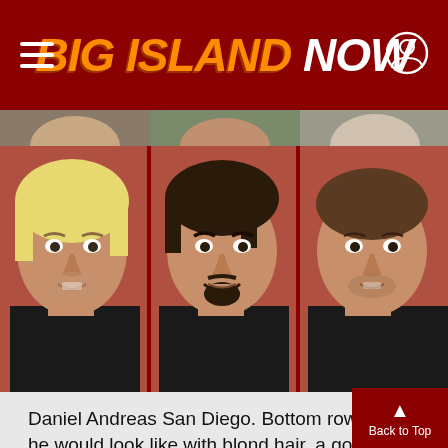BIG ISLAND NOW
[Figure (photo): Top strip showing partial images of faces from the article]
[Figure (photo): Three composite photos of Daniel Andreas San Diego showing him with different hair/facial hair variations: blond hair, goatee, and stubble, against a red-brown background. Images courtesy FBI.]
Daniel Andreas San Diego. Bottom row is what he would look like with blond hair, a goatee, and stubble. Images courtesy FBI.
ARTICLE CONTINUES BELOW AD
[Figure (photo): Advertisement image at bottom of page]
Back to Top